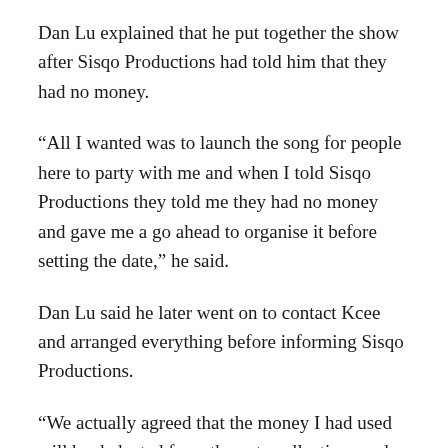Dan Lu explained that he put together the show after Sisqo Productions had told him that they had no money.
“All I wanted was to launch the song for people here to party with me and when I told Sisqo Productions they told me they had no money and gave me a go ahead to organise it before setting the date,” he said.
Dan Lu said he later went on to contact Kcee and arranged everything before informing Sisqo Productions.
“We actually agreed that the money I had used will be deducted from the gate collections and then the remaining amount would be given to Sisqo to get their percentage with the remainder to be given to me but things didn’t go down well,” he said.
The musician said despite the differences, he was still in good